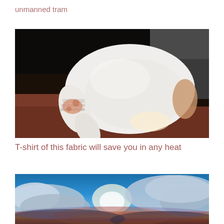unmanned tram
[Figure (photo): A white knitted fabric or sock being held, showing its flexible finger-like shape pulled over a hand or fingers, with a dark background and reddish-brown surface beneath.]
T-shirt of this fabric will save you in any heat
[Figure (photo): A dramatic sky photograph showing blue sky with large cumulus clouds, sunlight breaking through, and colorful horizon with orange and purple tones at the bottom.]